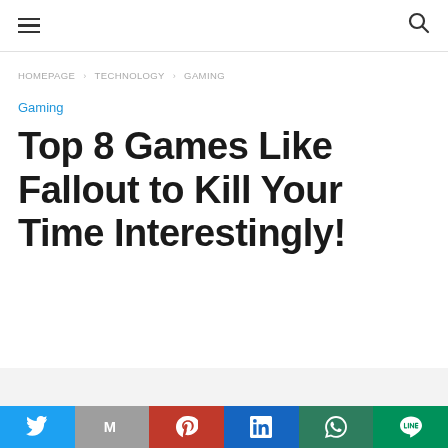≡ [hamburger menu] [search icon]
HOMEPAGE › TECHNOLOGY › GAMING
Gaming
Top 8 Games Like Fallout to Kill Your Time Interestingly!
[Figure (other): Social sharing bar with Twitter, Gmail, Pinterest, LinkedIn, WhatsApp, and LINE buttons]